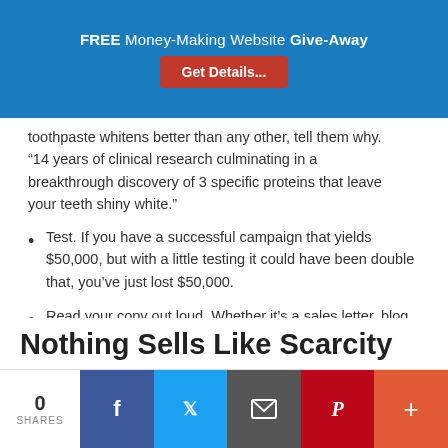FREE Money-Making Website Give-Away | Get Details...
toothpaste whitens better than any other, tell them why. “14 years of clinical research culminating in a breakthrough discovery of 3 specific proteins that leave your teeth shiny white.”
Test. If you have a successful campaign that yields $50,000, but with a little testing it could have been double that, you’ve just lost $50,000.
Read your copy out loud. Whether it’s a sales letter, blog post, email or article, read it out loud. You’ll discover what works and what needs fixing.
Nothing Sells Like Scarcity
0 SHARES